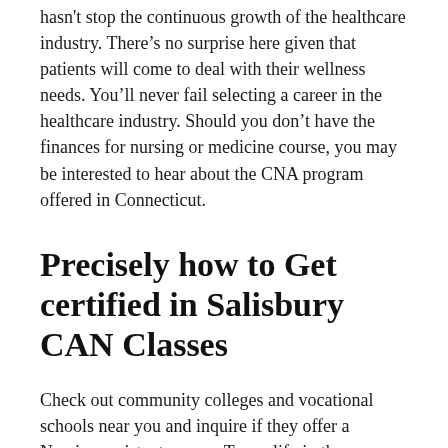hasn't stop the continuous growth of the healthcare industry. There's no surprise here given that patients will come to deal with their wellness needs. You'll never fail selecting a career in the healthcare industry. Should you don't have the finances for nursing or medicine course, you may be interested to hear about the CNA program offered in Connecticut.
Precisely how to Get certified in Salisbury CAN Classes
Check out community colleges and vocational schools near you and inquire if they offer a Nursing assistant course. To qualify in the course, you need submit docs proving you complete at least secondary school. If you don't have a secondary school